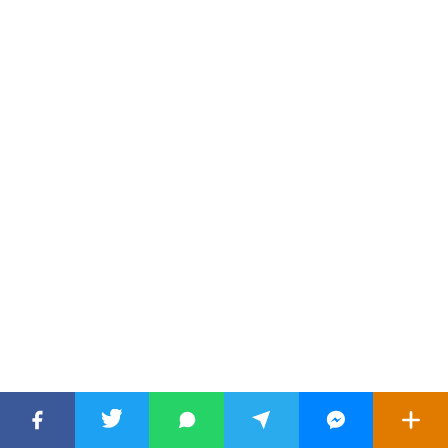Table of Contents
1. Important Dates
2. JMC Job Summary
3. Vacancy Details for JMC Recruitment 2022
4. Eligibility Criteria for JMC Recruitment 2022
5. Educational Qualification (partial/cut off)